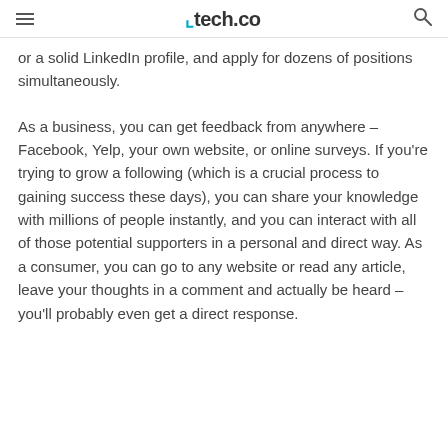tech.co
or a solid LinkedIn profile, and apply for dozens of positions simultaneously.
As a business, you can get feedback from anywhere – Facebook, Yelp, your own website, or online surveys. If you're trying to grow a following (which is a crucial process to gaining success these days), you can share your knowledge with millions of people instantly, and you can interact with all of those potential supporters in a personal and direct way. As a consumer, you can go to any website or read any article, leave your thoughts in a comment and actually be heard – you'll probably even get a direct response.